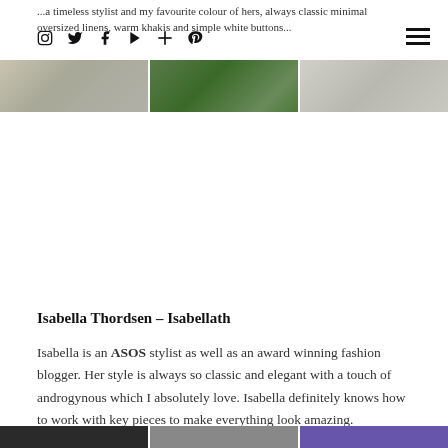...a timeless stylist and my favourite colour of hers, always classic minimal oversized linens, warm khakis and simple white buttons...
[Figure (photo): Three horizontal banner images showing outdoor/nature scenes: left shows a muted textured surface, middle shows green foliage/trees, right shows a light grey/white surface]
Isabella Thordsen – Isabellath
Isabella is an ASOS stylist as well as an award winning fashion blogger. Her style is always so classic and elegant with a touch of androgynous which I absolutely love. Isabella definitely knows how to work with key pieces to make everything look amazing.
[Figure (photo): Bottom strip showing three small thumbnail images: dark/black, grey, purple]